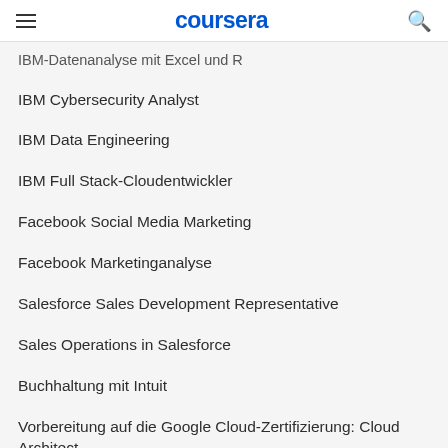coursera
IBM-Datenanalyse mit Excel und R
IBM Cybersecurity Analyst
IBM Data Engineering
IBM Full Stack-Cloudentwickler
Facebook Social Media Marketing
Facebook Marketinganalyse
Salesforce Sales Development Representative
Sales Operations in Salesforce
Buchhaltung mit Intuit
Vorbereitung auf die Google Cloud-Zertifizierung: Cloud Architect
Vorbereitung auf die Google Cloud-Zertifizierung: Cloud Data Engineer
Eine Karriere starten
Auf eine Zertifizierung vorbereiten